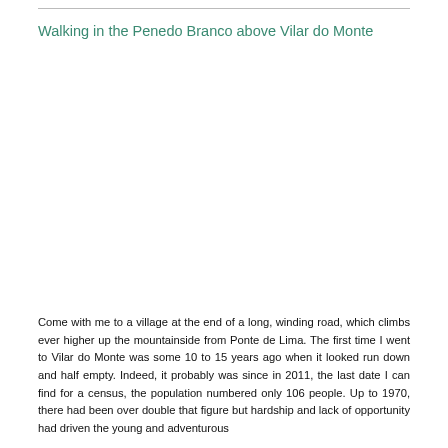Walking in the Penedo Branco above Vilar do Monte
[Figure (photo): Photograph placeholder area — image of Penedo Branco above Vilar do Monte]
Come with me to a village at the end of a long, winding road, which climbs ever higher up the mountainside from Ponte de Lima. The first time I went to Vilar do Monte was some 10 to 15 years ago when it looked run down and half empty. Indeed, it probably was since in 2011, the last date I can find for a census, the population numbered only 106 people. Up to 1970, there had been over double that figure but hardship and lack of opportunity had driven the young and adventurous